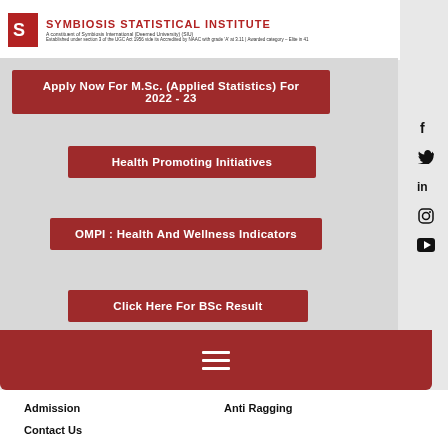[Figure (logo): Symbiosis Statistical Institute logo with red 'S' mark and institute name]
SYMBIOSIS STATISTICAL INSTITUTE
Apply Now For M.Sc. (Applied Statistics) For 2022 - 23
Health Promoting Initiatives
OMPI : Health And Wellness Indicators
Click Here For BSc Result
[Figure (infographic): Social media icons sidebar: Facebook, Twitter, LinkedIn, Instagram, YouTube]
[Figure (infographic): Dark red navigation bar with hamburger menu icon]
Admission
Anti Ragging
Contact Us